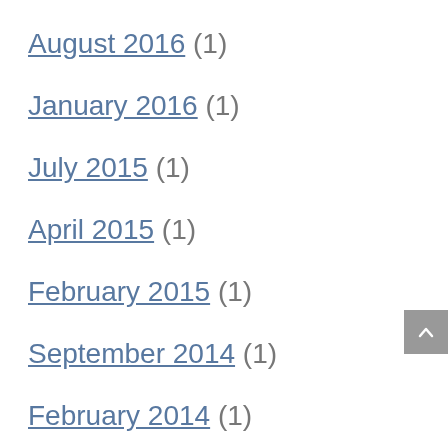August 2016 (1)
January 2016 (1)
July 2015 (1)
April 2015 (1)
February 2015 (1)
September 2014 (1)
February 2014 (1)
January 2014 (1)